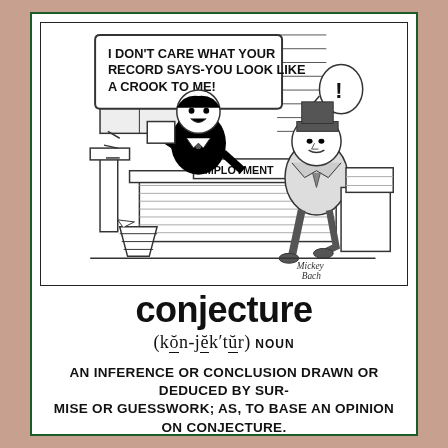[Figure (illustration): A cartoon showing an employment officer at a desk labeled 'EMPLOYMENT' speaking to a job applicant. The officer has a speech bubble saying 'I DON'T CARE WHAT YOUR RECORD SAYS-YOU LOOK LIKE A CROOK TO ME!' The applicant has a small bubble with an exclamation mark. Signed 'Mickey Bach'.]
conjecture
(kŏn-jĕk'tŭr) NOUN
AN INFERENCE OR CONCLUSION DRAWN OR DEDUCED BY SURMISE OR GUESSWORK; AS, TO BASE AN OPINION ON CONJECTURE.